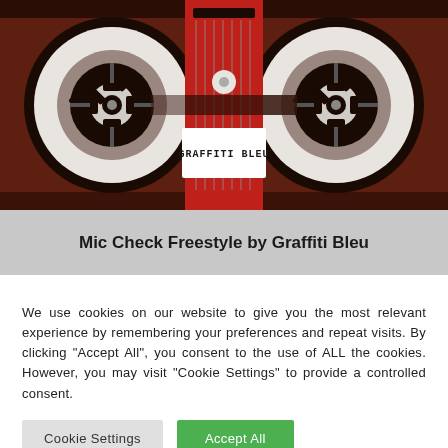[Figure (photo): Close-up photo of a cassette tape with dark red/brown reels and white hubs. A white label in the center reads 'GRAFFITI BLEU' in handwritten/graffiti style lettering. The cassette has a red center section with vertical lines/slits visible.]
Mic Check Freestyle by Graffiti Bleu
We use cookies on our website to give you the most relevant experience by remembering your preferences and repeat visits. By clicking "Accept All", you consent to the use of ALL the cookies. However, you may visit "Cookie Settings" to provide a controlled consent.
Cookie Settings
Accept All